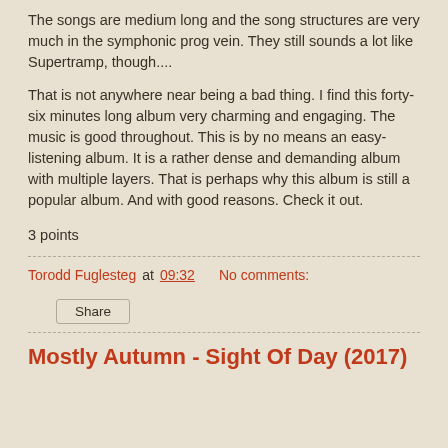The songs are medium long and the song structures are very much in the symphonic prog vein. They still sounds a lot like Supertramp, though....
That is not anywhere near being a bad thing. I find this forty-six minutes long album very charming and engaging. The music is good throughout. This is by no means an easy-listening album. It is a rather dense and demanding album with multiple layers. That is perhaps why this album is still a popular album. And with good reasons. Check it out.
3 points
Torodd Fuglesteg at 09:32    No comments:
Share
Mostly Autumn - Sight Of Day (2017)